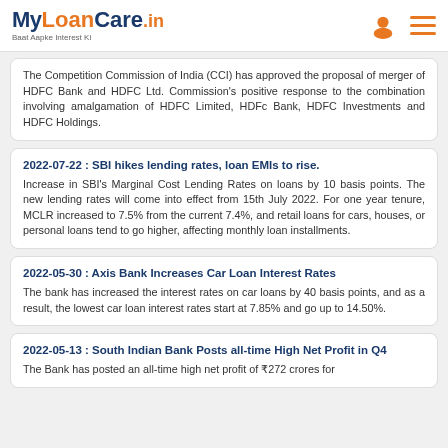MyLoanCare.in - Baat Aapke Interest Ki
The Competition Commission of India (CCI) has approved the proposal of merger of HDFC Bank and HDFC Ltd. Commission's positive response to the combination involving amalgamation of HDFC Limited, HDFc Bank, HDFC Investments and HDFC Holdings.
2022-07-22 : SBI hikes lending rates, loan EMIs to rise.
Increase in SBI's Marginal Cost Lending Rates on loans by 10 basis points. The new lending rates will come into effect from 15th July 2022. For one year tenure, MCLR increased to 7.5% from the current 7.4%, and retail loans for cars, houses, or personal loans tend to go higher, affecting monthly loan installments.
2022-05-30 : Axis Bank Increases Car Loan Interest Rates
The bank has increased the interest rates on car loans by 40 basis points, and as a result, the lowest car loan interest rates start at 7.85% and go up to 14.50%.
2022-05-13 : South Indian Bank Posts all-time High Net Profit in Q4
The Bank has posted an all-time high net profit of ₹272 crores for...